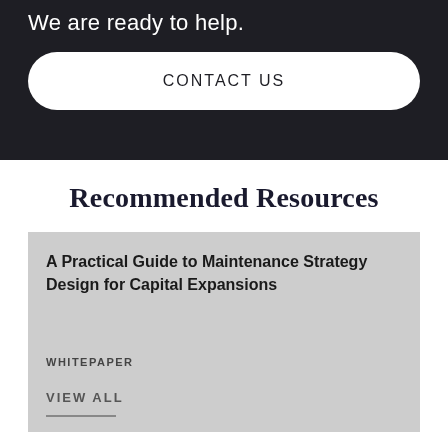We are ready to help.
CONTACT US
Recommended Resources
A Practical Guide to Maintenance Strategy Design for Capital Expansions
WHITEPAPER
VIEW ALL